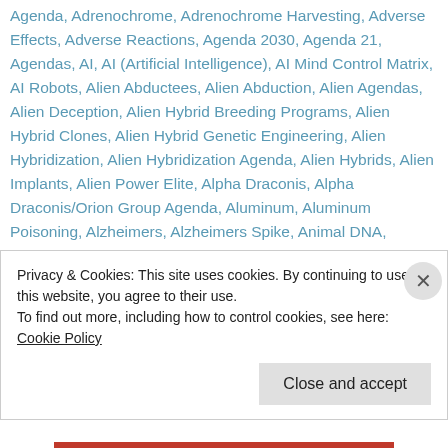Agenda, Adrenochrome, Adrenochrome Harvesting, Adverse Effects, Adverse Reactions, Agenda 2030, Agenda 21, Agendas, AI, AI (Artificial Intelligence), AI Mind Control Matrix, AI Robots, Alien Abductees, Alien Abduction, Alien Agendas, Alien Deception, Alien Hybrid Breeding Programs, Alien Hybrid Clones, Alien Hybrid Genetic Engineering, Alien Hybridization, Alien Hybridization Agenda, Alien Hybrids, Alien Implants, Alien Power Elite, Alpha Draconis, Alpha Draconis/Orion Group Agenda, Aluminum, Aluminum Poisoning, Alzheimers, Alzheimers Spike, Animal DNA, Annunaki, Annunaki Hybrid Fallen Angelics, Anti-Christ, Anti-Christ Agenda, Anti-Freeze, Anti-Human, Anti-Human Agenda,
Privacy & Cookies: This site uses cookies. By continuing to use this website, you agree to their use. To find out more, including how to control cookies, see here: Cookie Policy